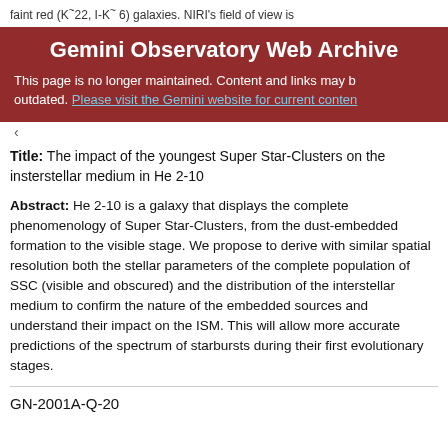faint red (K~22, I-K~ 6) galaxies. NIRI's field of view is
[Figure (screenshot): Gemini Observatory Web Archive banner: red background with bold white title 'Gemini Observatory Web Archive', followed by white text 'This page is no longer maintained. Content and links may be outdated.' and a blue underlined link 'Please visit the Gemini website for current content']
Title: The impact of the youngest Super Star-Clusters on the insterstellar medium in He 2-10
Abstract: He 2-10 is a galaxy that displays the complete phenomenology of Super Star-Clusters, from the dust-embedded formation to the visible stage. We propose to derive with similar spatial resolution both the stellar parameters of the complete population of SSC (visible and obscured) and the distribution of the interstellar medium to confirm the nature of the embedded sources and understand their impact on the ISM. This will allow more accurate predictions of the spectrum of starbursts during their first evolutionary stages.
GN-2001A-Q-20